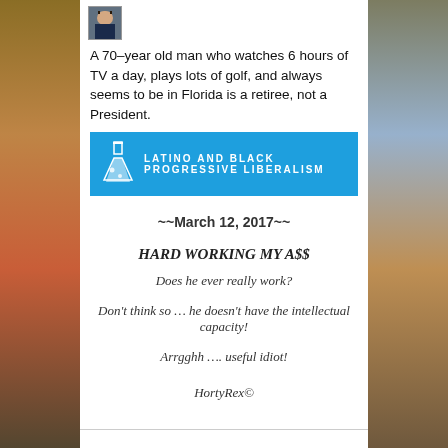[Figure (screenshot): Social media post with avatar photo of a man in a suit, showing a Facebook/blog post]
A 70–year old man who watches 6 hours of TV a day, plays lots of golf, and always seems to be in Florida is a retiree, not a President.
[Figure (logo): Latino and Black Progressive Liberalism banner with flask icon on blue background]
~~March 12, 2017~~
HARD WORKING MY A$$
Does he ever really work?
Don't think so … he doesn't have the intellectual capacity!
Arrgghh …. useful idiot!
HortyRex©